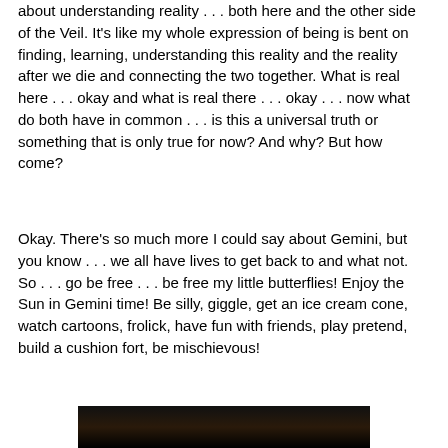about understanding reality . . . both here and the other side of the Veil.  It's like my whole expression of being is bent on finding, learning, understanding this reality and the reality after we die and connecting the two together.  What is real here . . . okay and what is real there . . . okay . . . now what do both have in common . . . is this a universal truth or something that is only true for now?  And why?  But how come?
Okay.  There's so much more I could say about Gemini, but you know . . . we all have lives to get back to and what not.  So . . . go be free . . . be free my little butterflies!  Enjoy the Sun in Gemini time!  Be silly, giggle, get an ice cream cone, watch cartoons, frolick, have fun with friends, play pretend, build a cushion fort, be mischievous!
[Figure (photo): Partial view of an image at the bottom of the page, mostly dark/black background with some figures visible at the bottom edge.]